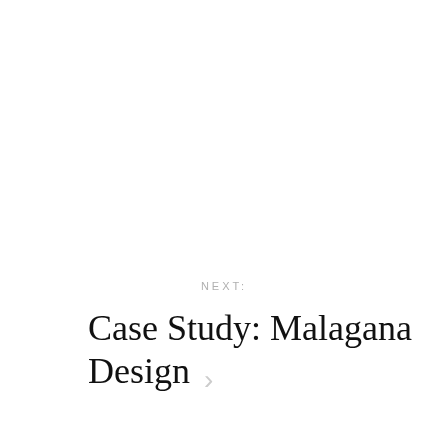NEXT:
Case Study: Malagana Design
[Figure (logo): Twitter bird icon in blue]